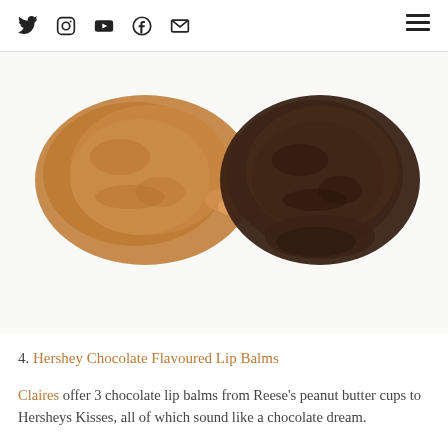Social media icons: Twitter, Instagram, YouTube, Facebook, Email | Hamburger menu
[Figure (photo): Two swatches of lip balm product: left swatch is peanut butter brown/tan color, right swatch is dark chocolate brown color, on a white background.]
4. Hershey Chocolate Flavoured Lip Balms
Claires offer 3 chocolate lip balms from Reese's peanut butter cups to Hersheys Kisses, all of which sound like a chocolate dream.